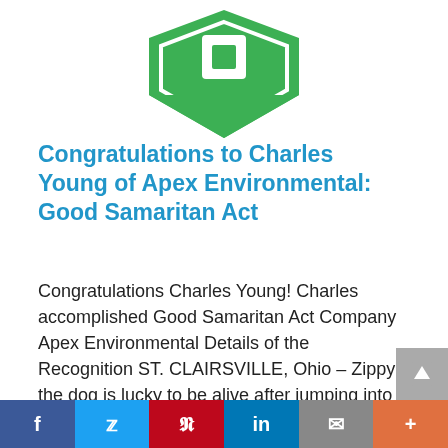[Figure (logo): Green shield/badge logo partially visible at the top of the page]
Congratulations to Charles Young of Apex Environmental: Good Samaritan Act
Congratulations Charles Young! Charles accomplished Good Samaritan Act Company Apex Environmental Details of the Recognition ST. CLAIRSVILLE, Ohio – Zippy the dog is lucky to be alive after jumping into a dumpster in Dilles Bottom, Ohio. Nobody noticed him, even when that dumpster was picked up and
f  t  p  in  ✉  +